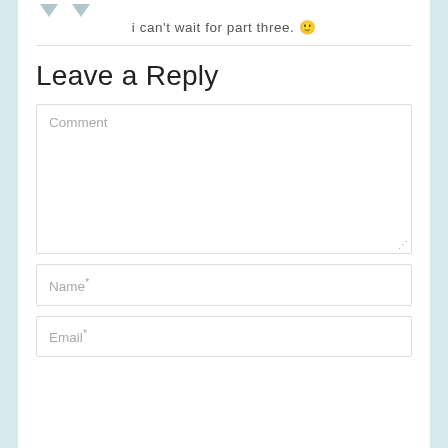[Figure (other): Two downward-pointing gray arrows]
i can't wait for part three. 🙂
Leave a Reply
Comment
Name*
Email*